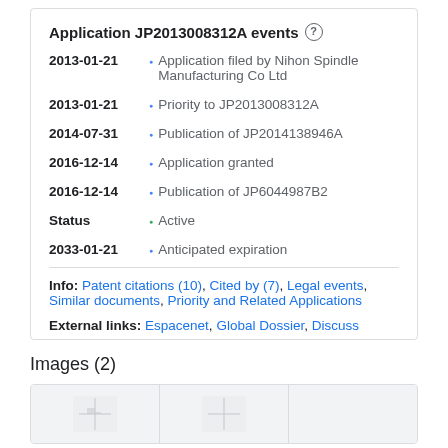Application JP2013008312A events
2013-01-21 • Application filed by Nihon Spindle Manufacturing Co Ltd
2013-01-21 • Priority to JP2013008312A
2014-07-31 • Publication of JP2014138946A
2016-12-14 • Application granted
2016-12-14 • Publication of JP6044987B2
Status • Active
2033-01-21 • Anticipated expiration
Info: Patent citations (10), Cited by (7), Legal events, Similar documents, Priority and Related Applications
External links: Espacenet, Global Dossier, Discuss
Images (2)